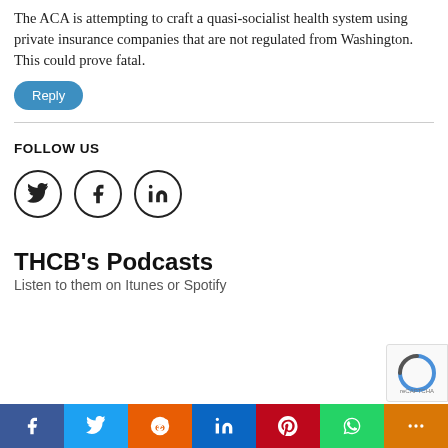The ACA is attempting to craft a quasi-socialist health system using private insurance companies that are not regulated from Washington. This could prove fatal.
Reply
FOLLOW US
[Figure (infographic): Social media follow icons: Twitter (bird), Facebook (f), LinkedIn (in) — each in a circle outline]
THCB's Podcasts
Listen to them on Itunes or Spotify
[Figure (infographic): Social share bar at bottom: Facebook (blue), Twitter (light blue), Reddit (orange), LinkedIn (dark blue), Pinterest (red), WhatsApp (green), More (amber/orange)]